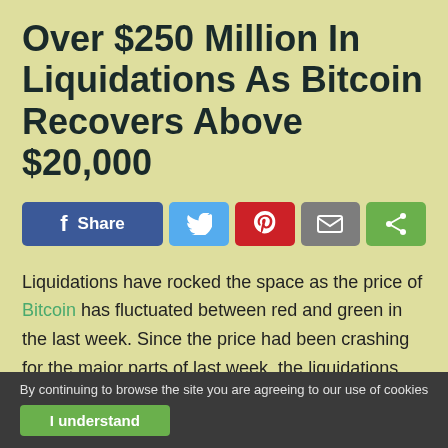Over $250 Million In Liquidations As Bitcoin Recovers Above $20,000
[Figure (infographic): Social share buttons: Facebook Share, Twitter, Pinterest, Email, ShareThis]
Liquidations have rocked the space as the price of Bitcoin has fluctuated between red and green in the last week. Since the price had been crashing for the major parts of last week, the liquidations have been heavily skewed towards long traders. This trend has now changed as short traders' liquidations have ramped up in the past week owing to recovery above $20,000.
By continuing to browse the site you are agreeing to our use of cookies